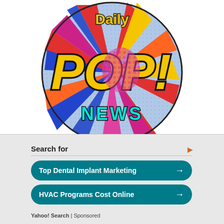[Figure (logo): Daily Pop News logo — circular pop-art style badge with 'Daily' at top, large yellow 'POP!' text in comic book style with halftone dots and colorful burst pattern, 'NEWS' in cyan/teal text at bottom]
Search for
Top Dental Implant Marketing →
HVAC Programs Cost Online →
Yahoo! Search | Sponsored